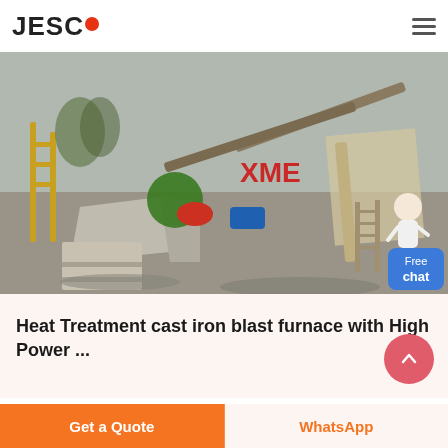JESCO
[Figure (photo): Industrial mining/crushing plant site with conveyor belts, machinery, XME branded equipment, concrete structures, and gravel/stone material. A chat assistant figure is visible in the bottom right of the image along with a blue 'Free chat' button.]
Heat Treatment cast iron blast furnace with High Power ...
Get a Quote
WhatsApp